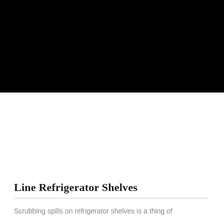[Figure (photo): Black rectangular image occupying the top portion of the page]
Line Refrigerator Shelves
Scrubbing spills on refrigerator shelves is a thing of